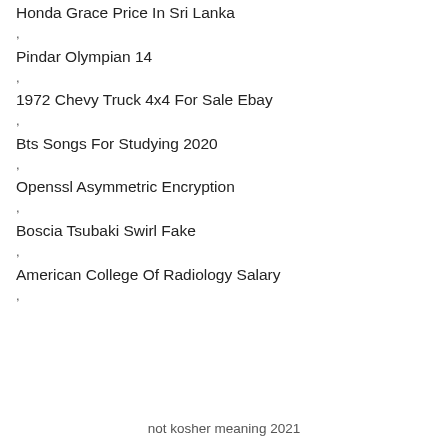Honda Grace Price In Sri Lanka
,
Pindar Olympian 14
,
1972 Chevy Truck 4x4 For Sale Ebay
,
Bts Songs For Studying 2020
,
Openssl Asymmetric Encryption
,
Boscia Tsubaki Swirl Fake
,
American College Of Radiology Salary
,
not kosher meaning 2021